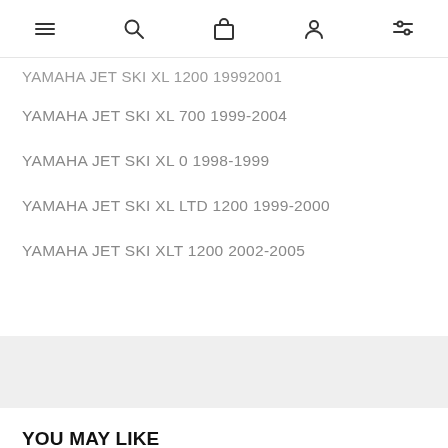Navigation bar with menu, search, cart, account, and filter icons
YAMAHA JET SKI XL 1200 1999-2001 (truncated at top)
YAMAHA JET SKI XL 700 1999-2004
YAMAHA JET SKI XL 0 1998-1999
YAMAHA JET SKI XL LTD 1200 1999-2000
YAMAHA JET SKI XLT 1200 2002-2005
YOU MAY LIKE
[Figure (photo): Black portable air compressor / pump product thumbnail]
[Figure (photo): Blue racerback athletic tank top product thumbnail]